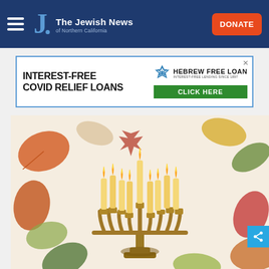The Jewish News of Northern California
[Figure (screenshot): Advertisement banner for Hebrew Free Loan: Interest-Free Covid Relief Loans. Click Here button in green. Hebrew Free Loan logo with Star of David icon.]
[Figure (photo): Illustration of a Hanukkah menorah (chanukiah) with nine lit candles, surrounded by colorful autumn leaves on a light beige background. Menorah is bronze/gold colored.]